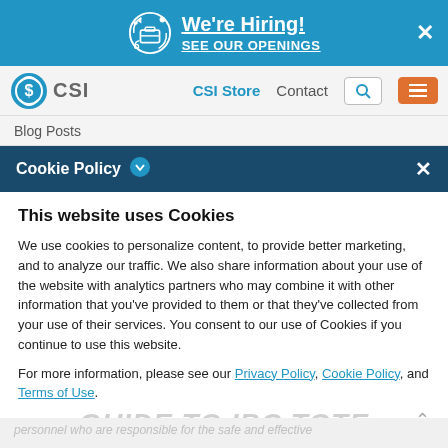[Figure (screenshot): Website screenshot showing a hiring banner at the top, navigation bar with CSI logo, blog posts breadcrumb, cookie policy modal/bar, and cookie consent content with accept button.]
We're Hiring! SEE OUR OPENINGS
CSI  CSI Store  Contact
Blog Posts
Cookie Policy
This website uses Cookies
We use cookies to personalize content, to provide better marketing, and to analyze our traffic. We also share information about your use of the website with analytics partners who may combine it with other information that you've provided to them or that they've collected from your use of their services. You consent to our use of Cookies if you continue to use this website.
For more information, please see our Privacy Policy, Cookie Policy, and Terms of Use.
Accept all cookies